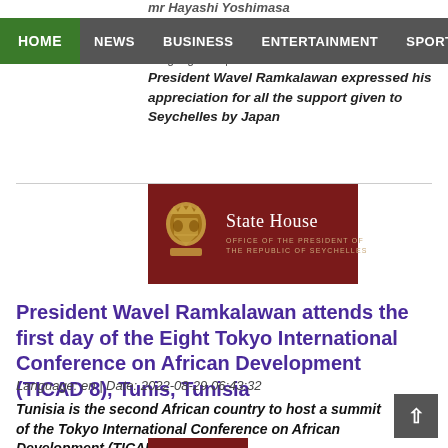mr Hayashi Yoshimasa
Language: en | Date: 2022-08-29 06:43:32
HOME NEWS BUSINESS ENTERTAINMENT SPORT
President Wavel Ramkalawan expressed his appreciation for all the support given to Seychelles by Japan
[Figure (logo): State House - Office of the President of the Republic of Seychelles logo on dark red background with gold emblem]
President Wavel Ramkalawan attends the first day of the Eight Tokyo International Conference on African Development (TICAD 8), Tunis, Tunisia
Language: en | Date: 2022-08-29 06:43:32
Tunisia is the second African country to host a summit of the Tokyo International Conference on African Development (TICAD)